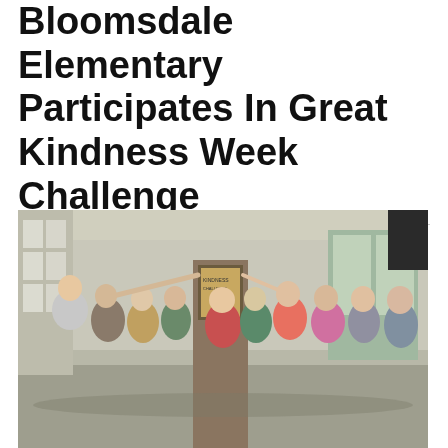Bloomsdale Elementary Participates In Great Kindness Week Challenge
By Editor | February 27, 2019 | 0
[Figure (photo): Group of elementary school children posing in a school hallway next to a plaque mounted on a brick column. Children are smiling and pointing at the plaque.]